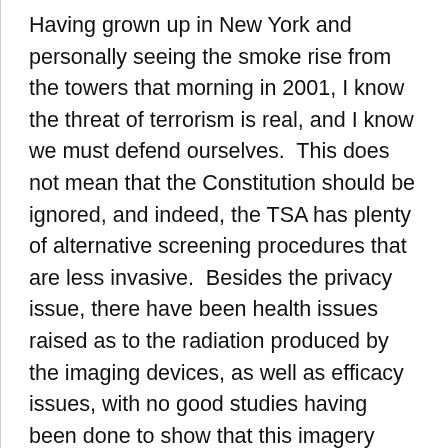Having grown up in New York and personally seeing the smoke rise from the towers that morning in 2001, I know the threat of terrorism is real, and I know we must defend ourselves.  This does not mean that the Constitution should be ignored, and indeed, the TSA has plenty of alternative screening procedures that are less invasive.  Besides the privacy issue, there have been health issues raised as to the radiation produced by the imaging devices, as well as efficacy issues, with no good studies having been done to show that this imagery makes us any safer.
The best defense for an airplane is the travelers, who I'm confident post-9/11 would stand up and beat the crap out of anyone who tried to hijack a plane.  Indeed, the passengers of aircraft since 9/11 have stopped multiple terrorist attacks, while I